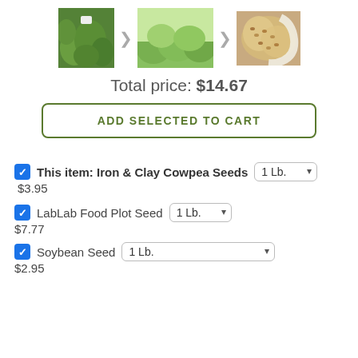[Figure (photo): Three product images: leafy green cowpea plants, a field of green plants, and a bag of seeds. Navigation arrows between images.]
Total price: $14.67
ADD SELECTED TO CART
This item: Iron & Clay Cowpea Seeds  1 Lb.  $3.95
LabLab Food Plot Seed  1 Lb.  $7.77
Soybean Seed  1 Lb.  $2.95